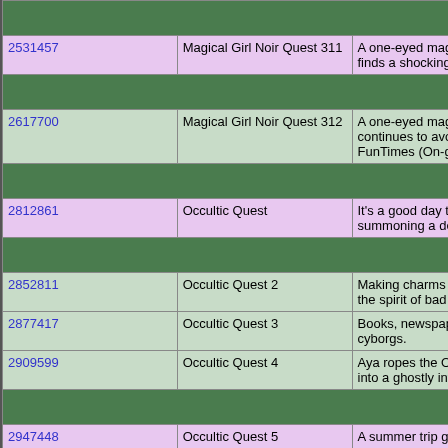| ID | Title | Description | Tags |
| --- | --- | --- | --- |
| May 2018 |  |  |  |
| 2531457 | Magical Girl Noir Quest 311 | A one-eyed magical girl finds a shocking surprise! | Magical Girl Noir Quest, Magical Girl, noir, drawf |
| June 2018 |  |  |  |
| 2617700 | Magical Girl Noir Quest 312 | A one-eyed magical girl continues to avoid FunTimes (On-going) | Magical Girl Noir Quest, Magical Girl, noir, drawf |
| August 2018 |  |  |  |
| 2812861 | Occultic Quest | It's a good day to try summoning a demon. | occultic quest, anime, dra |
| September 2018 |  |  |  |
| 2852811 | Occultic Quest 2 | Making charms to ward off the spirit of bad test scores. | occultic quest, anime, dra |
| 2877417 | Occultic Quest 3 | Books, newspapers, and cyborgs. | occultic quest, anime, dra |
| 2909599 | Occultic Quest 4 | Aya ropes the Occult Club into a ghostly investigation. | occultic quest, anime, dra |
| October 2018 |  |  |  |
| 2947448 | Occultic Quest 5 | A summer trip guided | occultic quest, anime, dra |